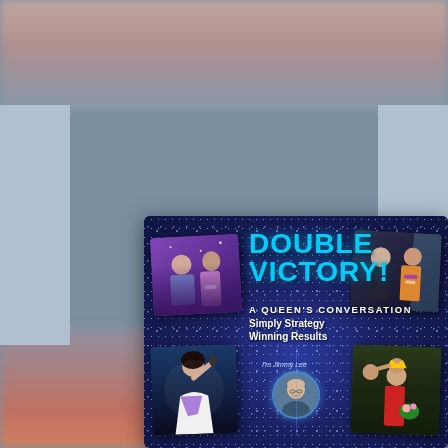[Figure (photo): Promotional book/webinar cover image titled 'Double Victory! A Queen's Conversation — Simply Strategy Winning Results' by Jimmy Lee. Dark blue glittery background with photos of pageant winners and their coach/presenter. Four photos arranged in corners: top-left shows a bald man with a woman in pageant attire on purple background; top-right shows a bald man with a woman wearing a sash; bottom-left shows a woman performing/celebrating with a microphone; bottom-right shows a woman being crowned. Center features a circular headshot of Jimmy Lee with text 'I'm Jimmy Lee'. The entire card is displayed on a blurred background showing people at what appears to be an event.]